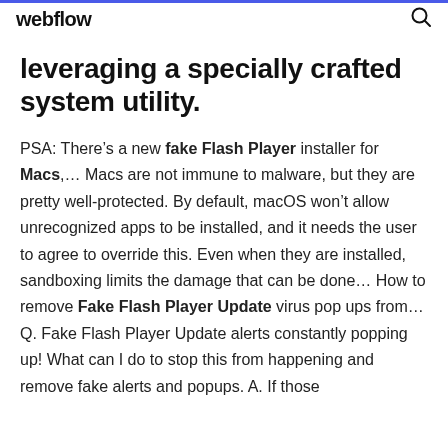webflow
leveraging a specially crafted system utility.
PSA: There’s a new fake Flash Player installer for Macs,… Macs are not immune to malware, but they are pretty well-protected. By default, macOS won’t allow unrecognized apps to be installed, and it needs the user to agree to override this. Even when they are installed, sandboxing limits the damage that can be done… How to remove Fake Flash Player Update virus pop ups from… Q. Fake Flash Player Update alerts constantly popping up! What can I do to stop this from happening and remove fake alerts and popups. A. If those